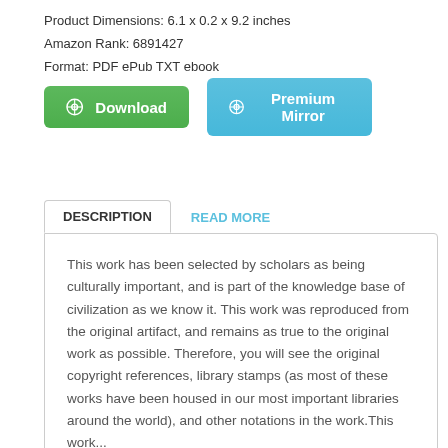Product Dimensions: 6.1 x 0.2 x 9.2 inches
Amazon Rank: 6891427
Format: PDF ePub TXT ebook
[Figure (other): Two buttons: a green Download button and a blue Premium Mirror button]
DESCRIPTION
READ MORE
This work has been selected by scholars as being culturally important, and is part of the knowledge base of civilization as we know it. This work was reproduced from the original artifact, and remains as true to the original work as possible. Therefore, you will see the original copyright references, library stamps (as most of these works have been housed in our most important libraries around the world), and other notations in the work.This work...